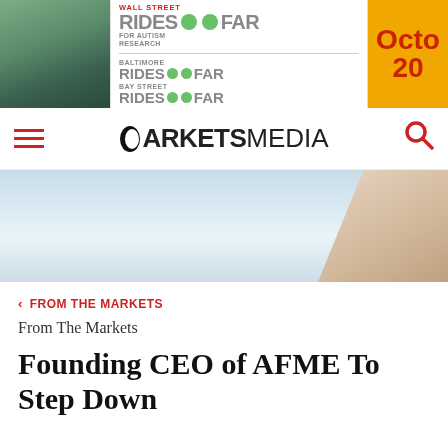[Figure (illustration): Banner advertisement for Wall Street Rides FAR for Autism Research event, showing logos for Wall Street Rides FAR, Baltimore Rides FAR, Bay Street Rides FAR, with an October date partially visible on an orange background.]
MARKETS MEDIA
[Figure (photo): Hero banner image showing a blurred blue/teal office environment with a hand visible on the right side.]
< FROM THE MARKETS
From The Markets
Founding CEO of AFME To Step Down